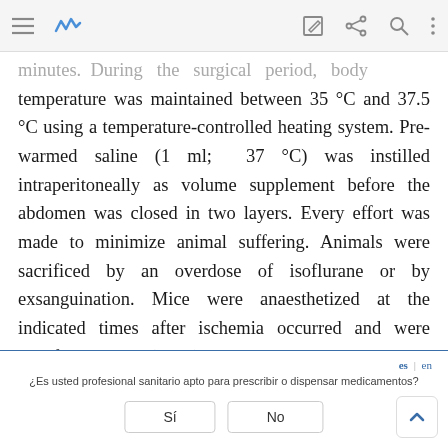toolbar with navigation icons
minutes. During the surgical period, body temperature was maintained between 35 °C and 37.5 °C using a temperature-controlled heating system. Pre-warmed saline (1 ml; 37 °C) was instilled intraperitoneally as volume supplement before the abdomen was closed in two layers. Every effort was made to minimize animal suffering. Animals were sacrificed by an overdose of isoflurane or by exsanguination. Mice were anaesthetized at the indicated times after ischemia occurred and were sacrificed at 24 h (n = 4). The kidneys were quickly
¿Es usted profesional sanitario apto para prescribir o dispensar medicamentos?